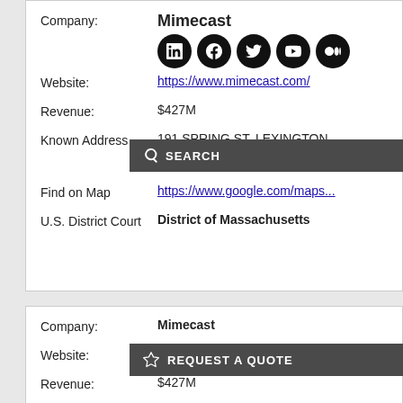Company: Mimecast
[Figure (infographic): Social media icons: LinkedIn, Facebook, Twitter, YouTube, Medium]
Website: https://www.mimecast.com/
Revenue: $427M
Known Address 191 SPRING ST, LEXINGTON,
[Figure (screenshot): Search overlay bar with magnifying glass icon and SEARCH text]
Find on Map https://www.google.com/maps...
U.S. District Court District of Massachusetts
Company: Mimecast
Website: https://www.mimecast.com/
[Figure (screenshot): Request a quote overlay bar with star icon and REQUEST A QUOTE text]
Revenue: $427M